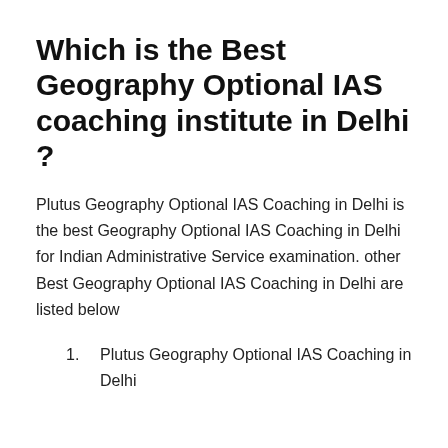Which is the Best Geography Optional IAS coaching institute in Delhi ?
Plutus Geography Optional IAS Coaching in Delhi is the best Geography Optional IAS Coaching in Delhi for Indian Administrative Service examination. other Best Geography Optional IAS Coaching in Delhi are listed below
Plutus Geography Optional IAS Coaching in Delhi